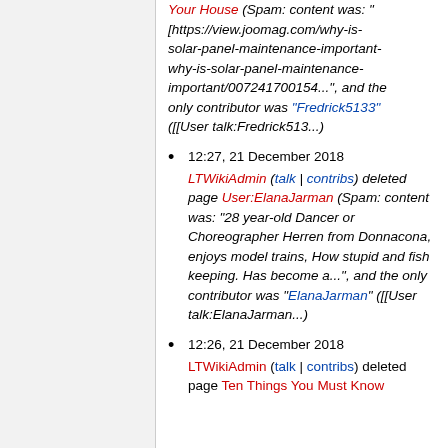Your House (Spam: content was: "[https://view.joomag.com/why-is-solar-panel-maintenance-important-why-is-solar-panel-maintenance-important/007241700154...", and the only contributor was "Fredrick5133" ([[User talk:Fredrick513...])
12:27, 21 December 2018 LTWikiAdmin (talk | contribs) deleted page User:ElanaJarman (Spam: content was: "28 year-old Dancer or Choreographer Herren from Donnacona, enjoys model trains, How stupid and fish keeping. Has become a...", and the only contributor was "ElanaJarman" ([[User talk:ElanaJarman...])
12:26, 21 December 2018 LTWikiAdmin (talk | contribs) deleted page Ten Things You Must Know